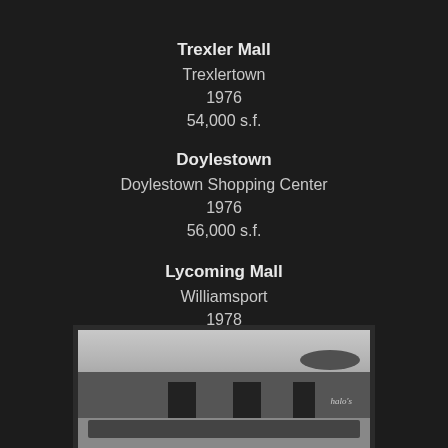Trexler Mall
Trexlertown
1976
54,000 s.f.
Doylestown
Doylestown Shopping Center
1976
56,000 s.f.
Lycoming Mall
Williamsport
1978
120,000 s.f.
[Figure (photo): Black and white exterior photo of a large retail mall building with parking lot in foreground, cars visible, trees in background, sign on building facade reading 'halo's']